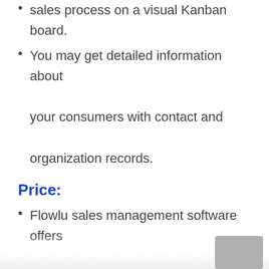You may get detailed information about your consumers with contact and organization records.
Price:
Flowlu sales management software offers Free, Team, Business, Professional.
Flowlu plans prices start from $0-$119 per month.
To know more about Flowlu sales management software, contact Flowlu.